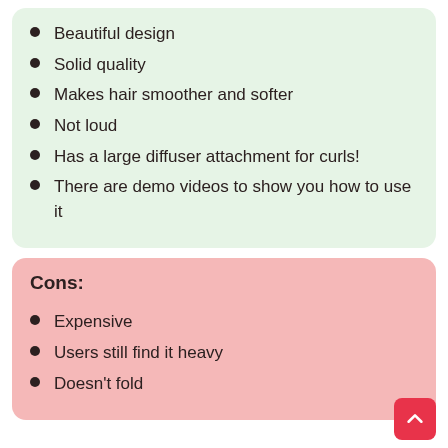Beautiful design
Solid quality
Makes hair smoother and softer
Not loud
Has a large diffuser attachment for curls!
There are demo videos to show you how to use it
Cons:
Expensive
Users still find it heavy
Doesn't fold